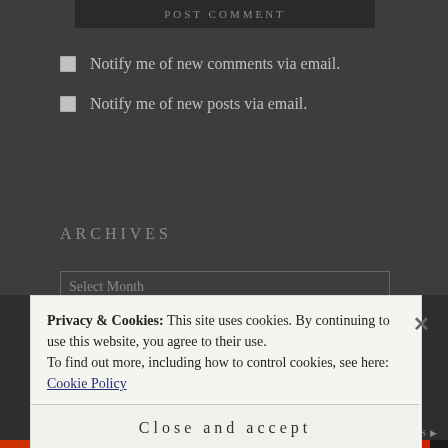Notify me of new comments via email.
Notify me of new posts via email.
ARCHIVES
Privacy & Cookies: This site uses cookies. By continuing to use this website, you agree to their use. To find out more, including how to control cookies, see here: Cookie Policy
Close and accept